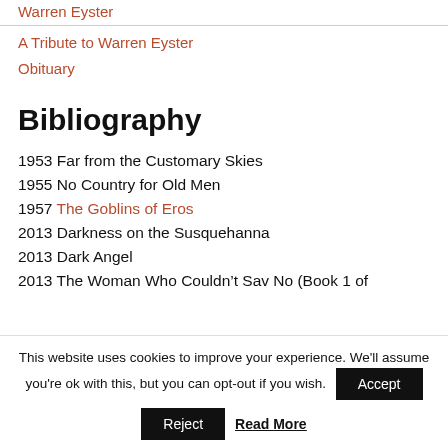Warren Eyster
A Tribute to Warren Eyster
Obituary
Bibliography
1953 Far from the Customary Skies
1955 No Country for Old Men
1957 The Goblins of Eros
2013 Darkness on the Susquehanna
2013 Dark Angel
2013 The Woman Who Couldn’t Sav No (Book 1 of
This website uses cookies to improve your experience. We'll assume you're ok with this, but you can opt-out if you wish.